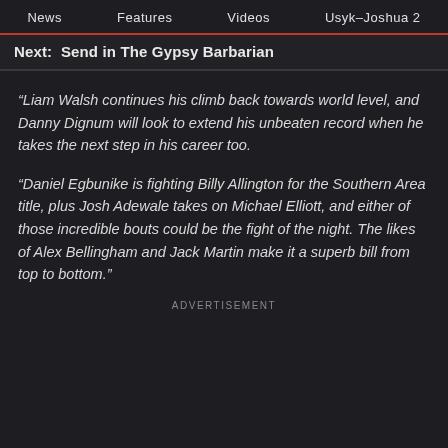News   Features   Videos   Usyk–Joshua 2
Next:  Send in The Gypsy Barbarian
“Liam Walsh continues his climb back towards world level, and Danny Dignum will look to extend his unbeaten record when he takes the next step in his career too.
“Daniel Egbunike is fighting Billy Allington for the Southern Area title, plus Josh Adewale takes on Michael Elliott, and either of those incredible bouts could be the fight of the night. The likes of Alex Bellingham and Jack Martin make it a superb bill from top to bottom.”
ADVERTISEMENT